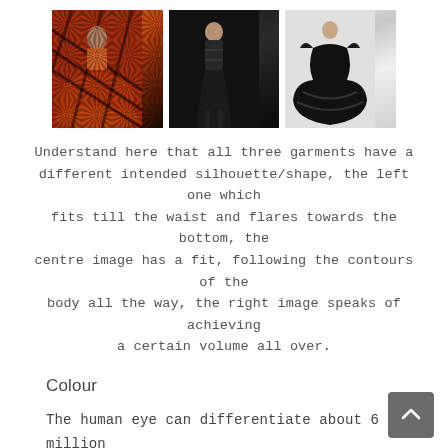[Figure (photo): Three fashion garment photos side by side: left shows an orange/red patterned flared skirt, center shows a person in a fitted dark printed outfit, right shows a black ruffled voluminous gown on a light background.]
Understand here that all three garments have a different intended silhouette/shape, the left one which fits till the waist and flares towards the bottom, the centre image has a fit, following the contours of the body all the way, the right image speaks of achieving a certain volume all over.
Colour
The human eye can differentiate about 6 million colours and what is colour? The different shades of hue and/or saturation that is possible due to the reflection of different wavelengths of light, Okay! this might sound technical, which, I will not delve into.